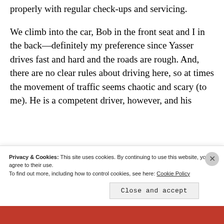properly with regular check-ups and servicing.
We climb into the car, Bob in the front seat and I in the back—definitely my preference since Yasser drives fast and hard and the roads are rough. And, there are no clear rules about driving here, so at times the movement of traffic seems chaotic and scary (to me). He is a competent driver, however, and his
Privacy & Cookies: This site uses cookies. By continuing to use this website, you agree to their use. To find out more, including how to control cookies, see here: Cookie Policy
Close and accept